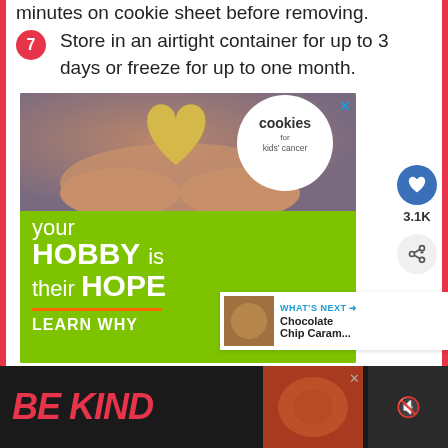minutes on cookie sheet before removing.
7  Store in an airtight container for up to 3 days or freeze for up to one month.
[Figure (photo): Advertisement for 'Cookies for Kids Cancer' charity showing hands holding a heart-shaped cookie with text 'your HOBBY is their HOPE LEARN WHY' on green background]
3.1K
WHAT'S NEXT → Chocolate Chip Caram...
[Figure (photo): Bottom advertisement strip with 'BE KIND' text in red italic font on dark background with decorative cookie imagery]